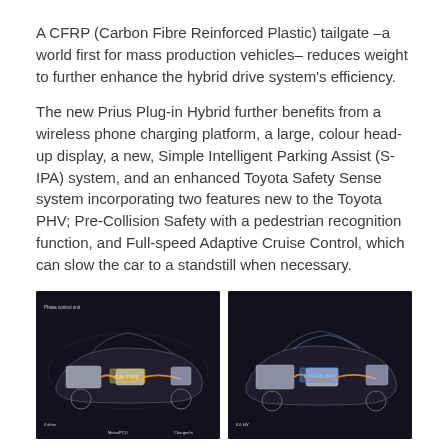A CFRP (Carbon Fibre Reinforced Plastic) tailgate –a world first for mass production vehicles– reduces weight to further enhance the hybrid drive system's efficiency.
The new Prius Plug-in Hybrid further benefits from a wireless phone charging platform, a large, colour head-up display, a new, Simple Intelligent Parking Assist (S-IPA) system, and an enhanced Toyota Safety Sense system incorporating two features new to the Toyota PHV; Pre-Collision Safety with a pedestrian recognition function, and Full-speed Adaptive Cruise Control, which can slow the car to a standstill when necessary.
[Figure (photo): Two dark-background cutaway/transparent diagrams of the Toyota Prius Plug-in Hybrid vehicle showing internal drivetrain and components with orange wiring/connections highlighted and small white labels.]